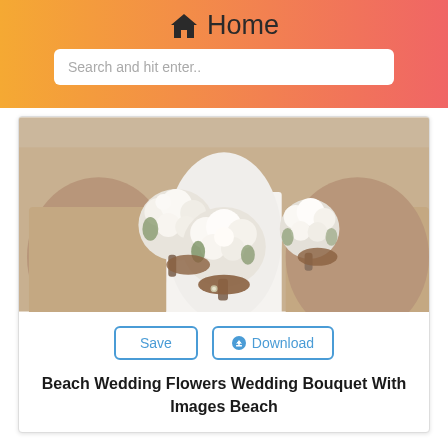Home
Search and hit enter..
[Figure (photo): Bride in white dress holding large white peony bouquet, flanked by two bridesmaids in pink-brown dresses holding smaller white bouquets]
Save   Download
Beach Wedding Flowers Wedding Bouquet With Images Beach